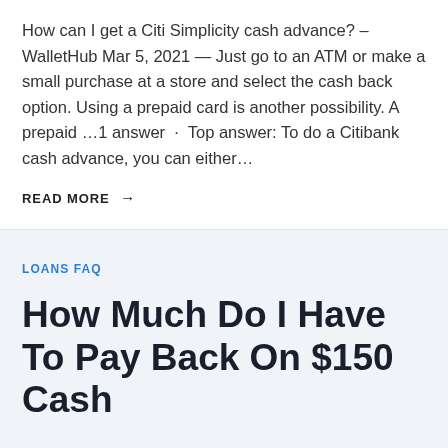How can I get a Citi Simplicity cash advance? – WalletHub Mar 5, 2021 — Just go to an ATM or make a small purchase at a store and select the cash back option. Using a prepaid card is another possibility. A prepaid …1 answer · Top answer: To do a Citibank cash advance, you can either…
READ MORE →
LOANS FAQ
How Much Do I Have To Pay Back On $150 Cash